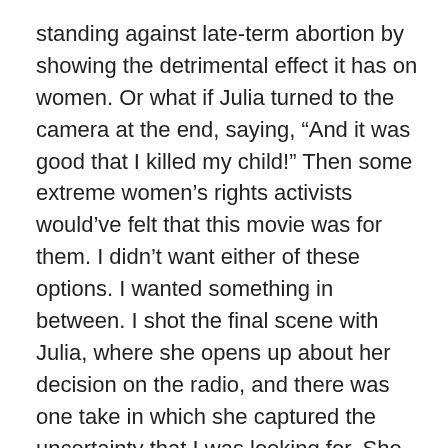standing against late-term abortion by showing the detrimental effect it has on women. Or what if Julia turned to the camera at the end, saying, “And it was good that I killed my child!” Then some extreme women’s rights activists would’ve felt that this movie was for them. I didn’t want either of these options. I wanted something in between. I shot the final scene with Julia, where she opens up about her decision on the radio, and there was one take in which she captured the uncertainty that I was looking for. She performs the scene as if she’s going to confession, in the Catholic tradition, and her dialogue only worked if the viewer sensed that she’s crying inside while exuding all her power and strength. Julia told me that she’s nervous in interview situations, and I eventually had to sit behind the interviewer and feed Julia her lines. The last take that we shot was the one that worked.